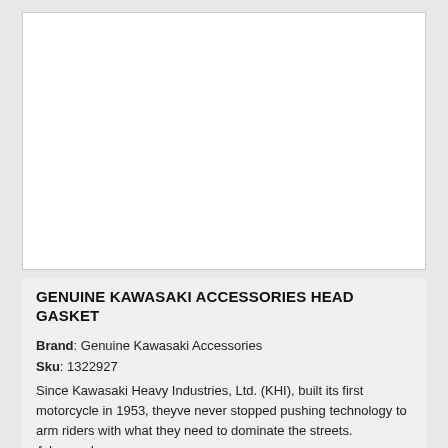[Figure (photo): White blank product image area with border]
GENUINE KAWASAKI ACCESSORIES HEAD GASKET
Brand: Genuine Kawasaki Accessories
Sku: 1322927
Since Kawasaki Heavy Industries, Ltd. (KHI), built its first motorcycle in 1953, theyve never stopped pushing technology to arm riders with what they need to dominate the streets. Advanced e...